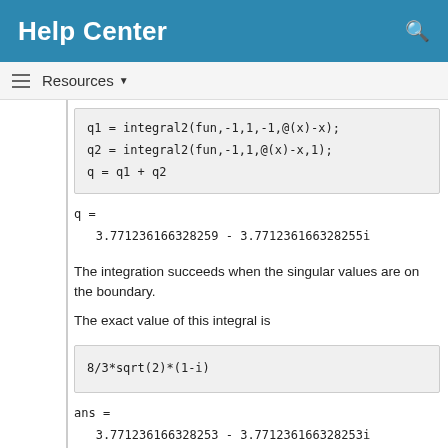Help Center
Resources ▼
The integration succeeds when the singular values are on the boundary.
The exact value of this integral is